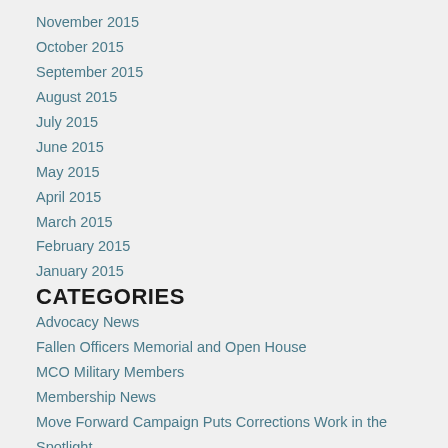November 2015
October 2015
September 2015
August 2015
July 2015
June 2015
May 2015
April 2015
March 2015
February 2015
January 2015
CATEGORIES
Advocacy News
Fallen Officers Memorial and Open House
MCO Military Members
Membership News
Move Forward Campaign Puts Corrections Work in the Spotlight
Reauthorize Your MCO Dues Today
Uncategorized
What You Need to Know about Civil Service Rules Changes